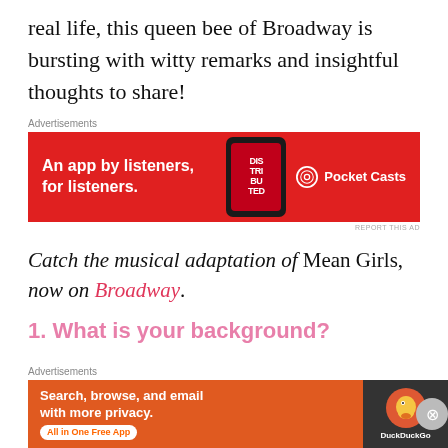real life, this queen bee of Broadway is bursting with witty remarks and insightful thoughts to share!
[Figure (screenshot): Pocket Casts advertisement banner: red background with phone graphic showing 'Distrib' app, text 'An app by listeners, for listeners.' and Pocket Casts logo]
Catch the musical adaptation of Mean Girls, now on Broadway.
1. What is your background?
I'm from a tiny, tiny town in Missouri where the cattle population exceeds the human population. I was in the
[Figure (screenshot): DuckDuckGo advertisement banner: orange background with text 'Search, browse, and email with more privacy. All in One Free App' and DuckDuckGo logo on dark background]